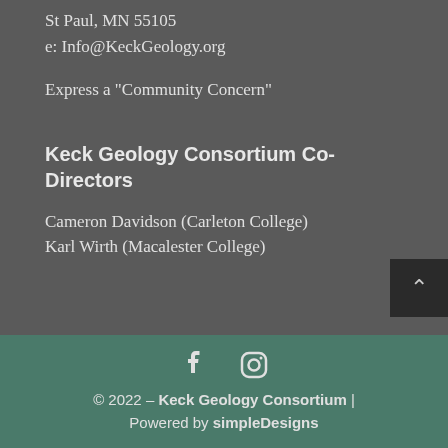St Paul, MN 55105
e: Info@KeckGeology.org
Express a "Community Concern"
Keck Geology Consortium Co-Directors
Cameron Davidson (Carleton College)
Karl Wirth (Macalester College)
© 2022 - Keck Geology Consortium | Powered by simpleDesigns